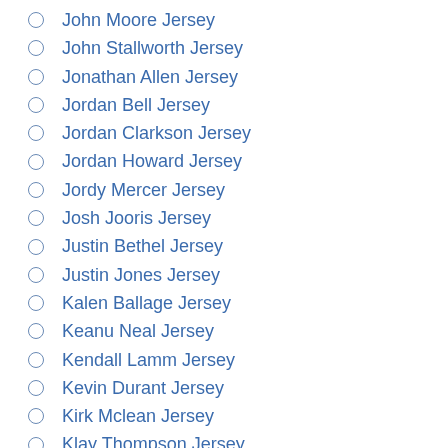John Moore Jersey
John Stallworth Jersey
Jonathan Allen Jersey
Jordan Bell Jersey
Jordan Clarkson Jersey
Jordan Howard Jersey
Jordy Mercer Jersey
Josh Jooris Jersey
Justin Bethel Jersey
Justin Jones Jersey
Kalen Ballage Jersey
Keanu Neal Jersey
Kendall Lamm Jersey
Kevin Durant Jersey
Kirk Mclean Jersey
Klay Thompson Jersey
Kyle Juszczyk Jersey
Kyle Wilber Jersey
Kyrie Irving Jersey
LaDainian Tomlinson Jersey